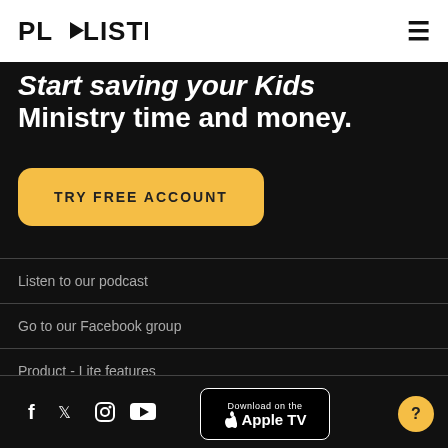PLYLISTER
Start saving your Kids Ministry time and money.
TRY FREE ACCOUNT
Listen to our podcast
Go to our Facebook group
Product - Lite features
Download on Apple TV